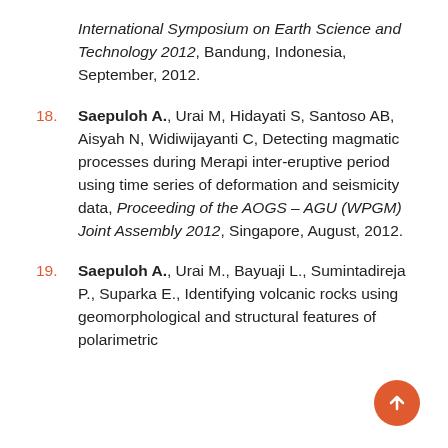International Symposium on Earth Science and Technology 2012, Bandung, Indonesia, September, 2012.
18. Saepuloh A., Urai M, Hidayati S, Santoso AB, Aisyah N, Widiwijayanti C, Detecting magmatic processes during Merapi inter-eruptive period using time series of deformation and seismicity data, Proceeding of the AOGS – AGU (WPGM) Joint Assembly 2012, Singapore, August, 2012.
19. Saepuloh A., Urai M., Bayuaji L., Sumintadireja P., Suparka E., Identifying volcanic rocks using geomorphological and structural features of polarimetric